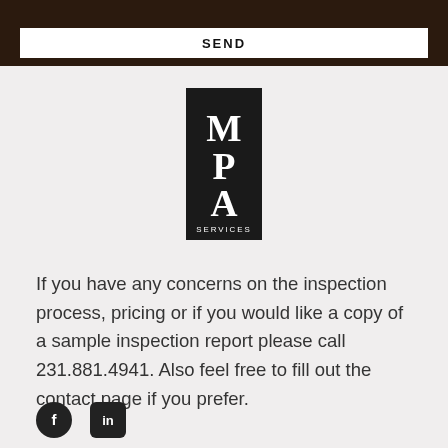SEND
[Figure (logo): MPA Services logo — white serif letters M, P, A stacked vertically on black background with 'SERVICES' in small caps at the bottom]
If you have any concerns on the inspection process, pricing or if you would like a copy of a sample inspection report please call 231.881.4941. Also feel free to fill out the contact page if you prefer.
[Figure (other): Social media icons: Facebook circle icon and LinkedIn square icon]